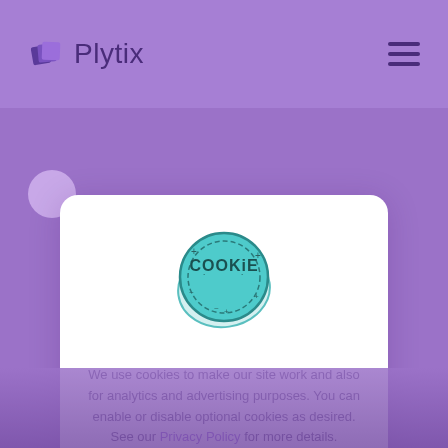Plytix
[Figure (screenshot): Cookie consent modal overlay on Plytix website with purple background, cookie stamp illustration, consent text, and two buttons: Manage your cookies and Accept & move on]
We use cookies to make our site work and also for analytics and advertising purposes. You can enable or disable optional cookies as desired. See our Privacy Policy for more details.
Manage your cookies
Accept & move on